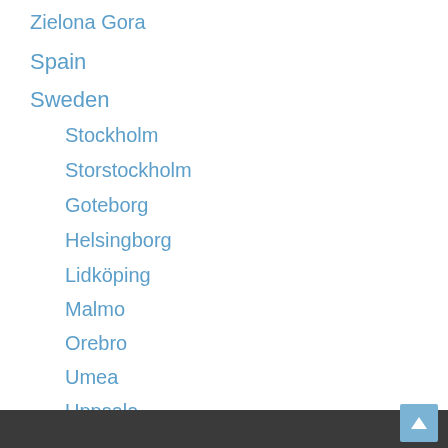Zielona Gora
Spain
Sweden
Stockholm
Storstockholm
Goteborg
Helsingborg
Lidköping
Malmo
Orebro
Umea
Uppsala
Vasteras